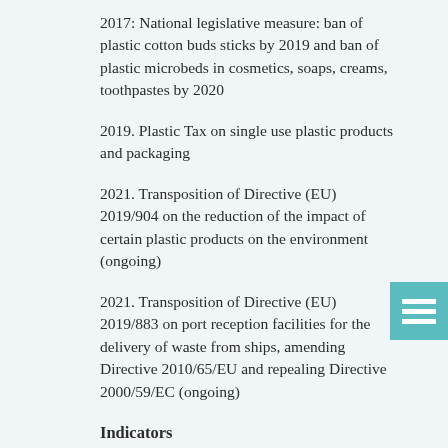2017: National legislative measure: ban of plastic cotton buds sticks by 2019 and ban of plastic microbeds in cosmetics, soaps, creams, toothpastes by 2020
2019. Plastic Tax on single use plastic products and packaging
2021. Transposition of Directive (EU) 2019/904 on the reduction of the impact of certain plastic products on the environment (ongoing)
2021. Transposition of Directive (EU) 2019/883 on port reception facilities for the delivery of waste from ships, amending Directive 2010/65/EU and repealing Directive 2000/59/EC (ongoing)
Indicators
According to the Commission Decision (EU) 2017/848 of 17 May 2017
D10C1 · Primary: The composition, amounts and spatial...